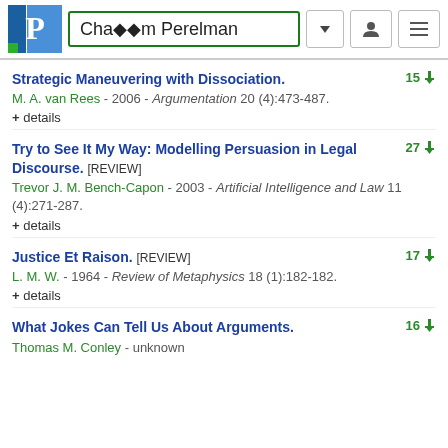Chaïm Perelman
Strategic Maneuvering with Dissociation. | M. A. van Rees - 2006 - Argumentation 20 (4):473-487. | + details | 15 citations
Try to See It My Way: Modelling Persuasion in Legal Discourse. [REVIEW] | Trevor J. M. Bench-Capon - 2003 - Artificial Intelligence and Law 11 (4):271-287. | + details | 27 citations
Justice Et Raison. [REVIEW] | L. M. W. - 1964 - Review of Metaphysics 18 (1):182-182. | + details | 17 citations
What Jokes Can Tell Us About Arguments. | Thomas M. Conley - unknown | 16 citations